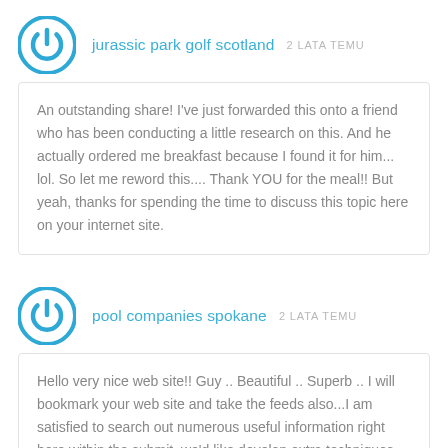jurassic park golf scotland  2 LATA TEMU
An outstanding share! I've just forwarded this onto a friend who has been conducting a little research on this. And he actually ordered me breakfast because I found it for him... lol. So let me reword this.... Thank YOU for the meal!! But yeah, thanks for spending the time to discuss this topic here on your internet site.
pool companies spokane  2 LATA TEMU
Hello very nice web site!! Guy .. Beautiful .. Superb .. I will bookmark your web site and take the feeds also...I am satisfied to search out numerous useful information right here within the submit, we'd like develop extra techniques on this regard, thank you for sharing. . . . . .